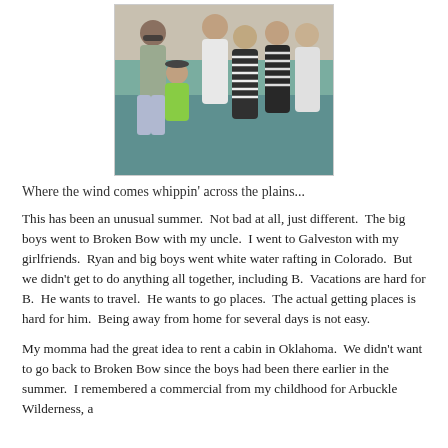[Figure (photo): Group photo of a family (six people including adults and a child wearing a green life jacket) posing together outdoors near water.]
Where the wind comes whippin' across the plains...
This has been an unusual summer.  Not bad at all, just different.  The big boys went to Broken Bow with my uncle.  I went to Galveston with my girlfriends.  Ryan and big boys went white water rafting in Colorado.  But we didn't get to do anything all together, including B.  Vacations are hard for B.  He wants to travel.  He wants to go places.  The actual getting places is hard for him.  Being away from home for several days is not easy.
My momma had the great idea to rent a cabin in Oklahoma.  We didn't want to go back to Broken Bow since the boys had been there earlier in the summer.  I remembered a commercial from my childhood for Arbuckle Wilderness, a